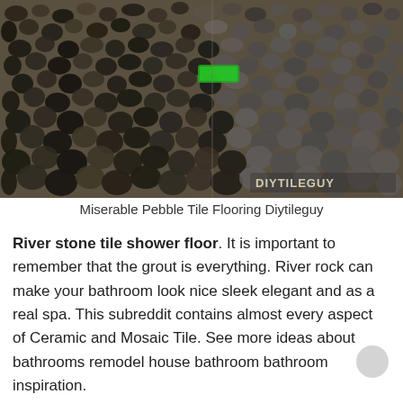[Figure (photo): Close-up photograph of a pebble tile shower floor with dark river stones set in grout. A small green rectangle is visible near the upper-center area. A watermark reading 'DIYTILEGUY' appears in the lower-right corner.]
Miserable Pebble Tile Flooring Diytileguy
River stone tile shower floor. It is important to remember that the grout is everything. River rock can make your bathroom look nice sleek elegant and as a real spa. This subreddit contains almost every aspect of Ceramic and Mosaic Tile. See more ideas about bathrooms remodel house bathroom bathroom inspiration.